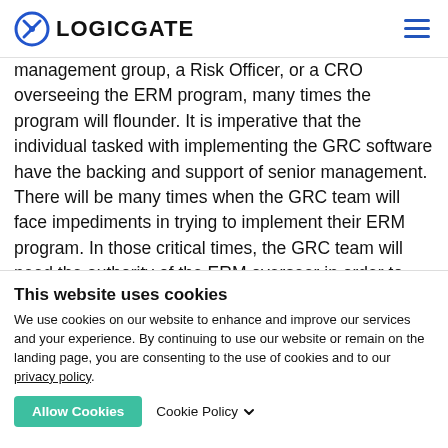LOGICGATE
management group, a Risk Officer, or a CRO overseeing the ERM program, many times the program will flounder. It is imperative that the individual tasked with implementing the GRC software have the backing and support of senior management. There will be many times when the GRC team will face impediments in trying to implement their ERM program. In those critical times, the GRC team will need the authority of the ERM overseer in order to remove those roadblocks or else the program
This website uses cookies
We use cookies on our website to enhance and improve our services and your experience. By continuing to use our website or remain on the landing page, you are consenting to the use of cookies and to our privacy policy.
Allow Cookies   Cookie Policy